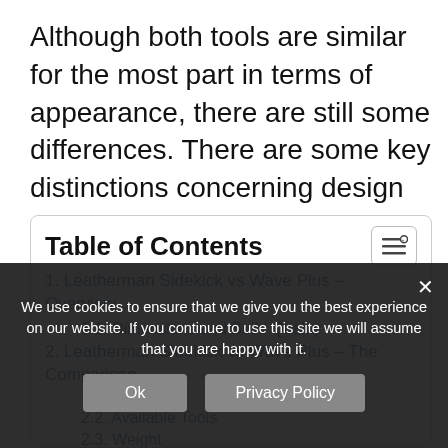Although both tools are similar for the most part in terms of appearance, there are still some differences. There are some key distinctions concerning design and features and this Leatherman Sidekick vs Wave Plus comparison covers them all.
| Table of Contents |
| 1. Leatherman Sidekick vs Wave Plus – Overview |
| 1.1. Dimensions and Build Quality |
| 2. Leatherman Sidekick vs Wave Plus – The Comparison |
| 2.1. Overview |
| 2.2. Available Tools |
| 2.3. Weight |
| 2.4. Length |
We use cookies to ensure that we give you the best experience on our website. If you continue to use this site we will assume that you are happy with it.